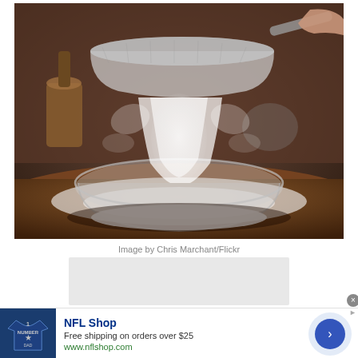[Figure (photo): A hand holding a fine mesh sieve/sifter over a clear glass bowl, sifting white powder (flour or powdered sugar) which falls in a stream onto the bowl and surrounding dark surface. Background shows jars and kitchen tools in dim lighting.]
Image by Chris Marchant/Flickr
[Figure (other): Advertisement banner: NFL Shop. Free shipping on orders over $25. www.nflshop.com. Shows a Dallas Cowboys NFL jersey shirt on the left and an arrow button on the right.]